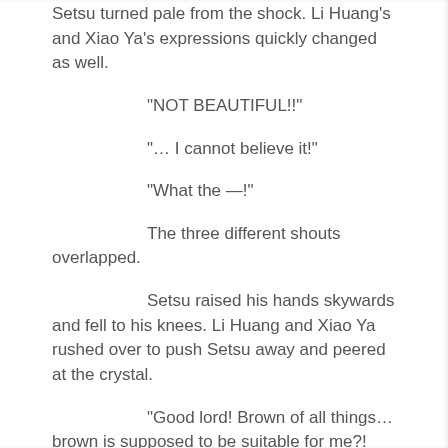Setsu turned pale from the shock. Li Huang's and Xiao Ya's expressions quickly changed as well.
“NOT BEAUTIFUL!!”
“… I cannot believe it!”
“What the —!”
The three different shouts overlapped.
Setsu raised his hands skywards and fell to his knees. Li Huang and Xiao Ya rushed over to push Setsu away and peered at the crystal.
“Good lord! Brown of all things… brown is supposed to be suitable for me?!  Argh, gods… I believed you would bestow a prettier color onto me..! Gold…or, at least blue or red, blue or red…!!”
The other two watched on dumbfounded, as Sestu stretched his hands even higher towards the